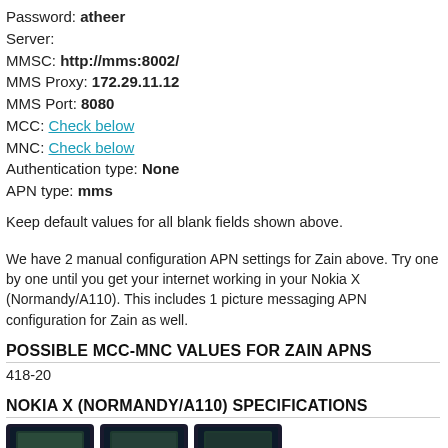Password: atheer
Server:
MMSC: http://mms:8002/
MMS Proxy: 172.29.11.12
MMS Port: 8080
MCC: Check below
MNC: Check below
Authentication type: None
APN type: mms
Keep default values for all blank fields shown above.
We have 2 manual configuration APN settings for Zain above. Try one by one until you get your internet working in your Nokia X (Normandy/A110). This includes 1 picture messaging APN configuration for Zain as well.
POSSIBLE MCC-MNC VALUES FOR ZAIN APNS
418-20
NOKIA X (NORMANDY/A110) SPECIFICATIONS
[Figure (photo): Three Nokia X phone images shown as thumbnails in a row]